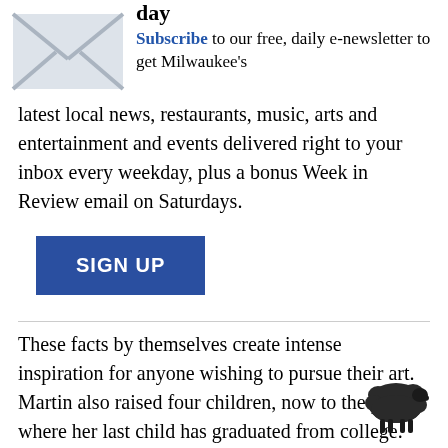[Figure (illustration): Email envelope icon, light gray with an X mark, indicating newsletter signup]
day
Subscribe to our free, daily e-newsletter to get Milwaukee's latest local news, restaurants, music, arts and entertainment and events delivered right to your inbox every weekday, plus a bonus Week in Review email on Saturdays.
[Figure (other): SIGN UP button in dark blue]
These facts by themselves create intense inspiration for anyone wishing to pursue their art. Martin also raised four children, now to the point where her last child has graduated from college. and also took a small respite from the